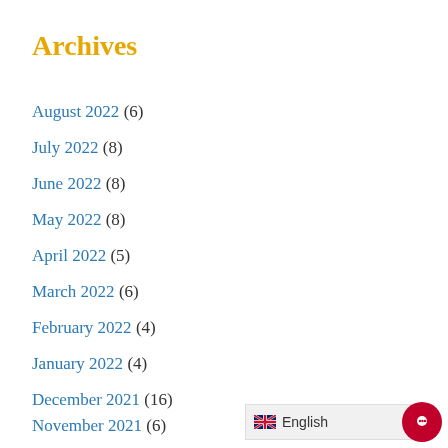Archives
August 2022 (6)
July 2022 (8)
June 2022 (8)
May 2022 (8)
April 2022 (5)
March 2022 (6)
February 2022 (4)
January 2022 (4)
December 2021 (16)
November 2021 (6)
October 2021 (6)